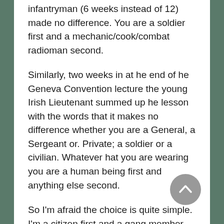infantryman (6 weeks instead of 12) made no difference. You are a soldier first and a mechanic/cook/combat radioman second.
Similarly, two weeks in at he end of he Geneva Convention lecture the young Irish Lieutenant summed up he lesson with the words that it makes no difference whether you are a General, a Sergeant or. Private; a soldier or a civilian. Whatever hat you are wearing you are a human being first and anything else second.
So I'm afraid the choice is quite simple. I'm a citizen first and a gang member second. Responsibilities to the community one resides in require a stark and straightforward choice based on the doctor's oath of doing no harm (even when that makes zero difference) and sticking